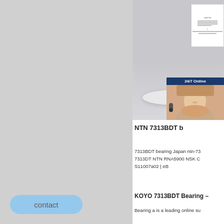[Figure (photo): Left panel: large grey/light grey background area taking up left portion of page]
[Figure (photo): Product display area showing bearing on white platform with grey background, certificate overlay top right, and 24/7 Online customer service chat widget with female agent headset photo, quotation button]
NTN 7313BDT b
7313BDT bearing Japan ntn-7313DT NTN RNA5900 NSK C S11007a02 | eB
KOYO 7313BDT Bearing –
Bearing a is a leading online su